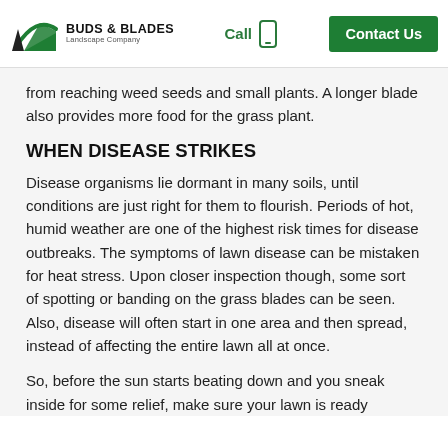Buds & Blades Landscape Company | Call | Contact Us
from reaching weed seeds and small plants. A longer blade also provides more food for the grass plant.
WHEN DISEASE STRIKES
Disease organisms lie dormant in many soils, until conditions are just right for them to flourish. Periods of hot, humid weather are one of the highest risk times for disease outbreaks. The symptoms of lawn disease can be mistaken for heat stress. Upon closer inspection though, some sort of spotting or banding on the grass blades can be seen. Also, disease will often start in one area and then spread, instead of affecting the entire lawn all at once.
So, before the sun starts beating down and you sneak inside for some relief, make sure your lawn is ready